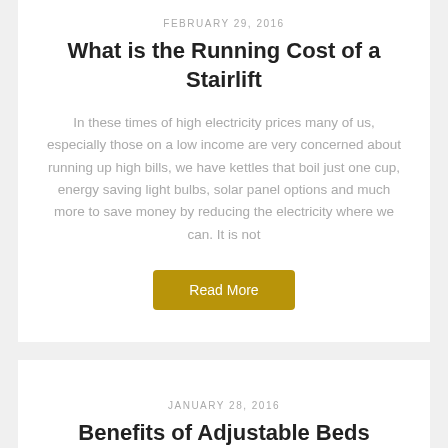FEBRUARY 29, 2016
What is the Running Cost of a Stairlift
In these times of high electricity prices many of us, especially those on a low income are very concerned about running up high bills, we have kettles that boil just one cup, energy saving light bulbs, solar panel options and much more to save money by reducing the electricity where we can. It is not
JANUARY 28, 2016
Benefits of Adjustable Beds